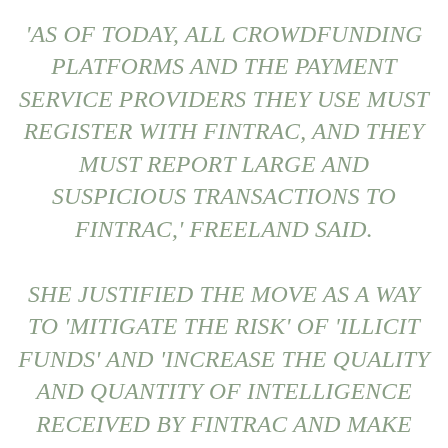'AS OF TODAY, ALL CROWDFUNDING PLATFORMS AND THE PAYMENT SERVICE PROVIDERS THEY USE MUST REGISTER WITH FINTRAC, AND THEY MUST REPORT LARGE AND SUSPICIOUS TRANSACTIONS TO FINTRAC,' FREELAND SAID.
SHE JUSTIFIED THE MOVE AS A WAY TO 'MITIGATE THE RISK' OF 'ILLICIT FUNDS' AND 'INCREASE THE QUALITY AND QUANTITY OF INTELLIGENCE RECEIVED BY FINTRAC AND MAKE MORE INFORMATION AVAILABLE TO SUPPORT INVESTIGATIONS BY LAW